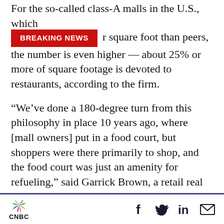For the so-called class-A malls in the U.S., which [BREAKING NEWS banner] r square foot than peers, the number is even higher — about 25% or more of square footage is devoted to restaurants, according to the firm.
“We’ve done a 180-degree turn from this philosophy in place 10 years ago, where [mall owners] put in a food court, but shoppers were there primarily to shop, and the food court was just an amenity for refueling,” said Garrick Brown, a retail real estate analyst for Cushman. “Now, I will go to the mall because there is really good food there. It’s a reversal from the idea that
CNBC [logo] [social icons: f, Twitter, in, mail]